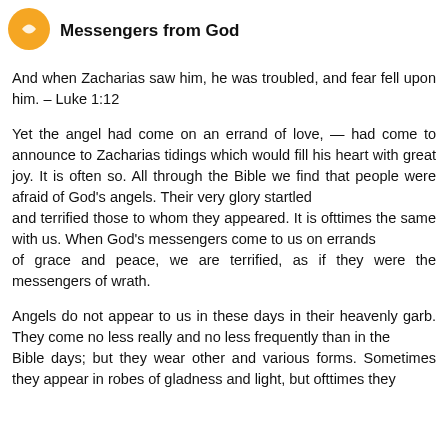[Figure (illustration): Orange circle icon with a white icon inside, positioned to the left of the section title]
Messengers from God
And when Zacharias saw him, he was troubled, and fear fell upon him. – Luke 1:12
Yet the angel had come on an errand of love, — had come to announce to Zacharias tidings which would fill his heart with great joy. It is often so. All through the Bible we find that people were afraid of God's angels. Their very glory startled and terrified those to whom they appeared. It is ofttimes the same with us. When God's messengers come to us on errands of grace and peace, we are terrified, as if they were the messengers of wrath.
Angels do not appear to us in these days in their heavenly garb. They come no less really and no less frequently than in the Bible days; but they wear other and various forms. Sometimes they appear in robes of gladness and light, but ofttimes they